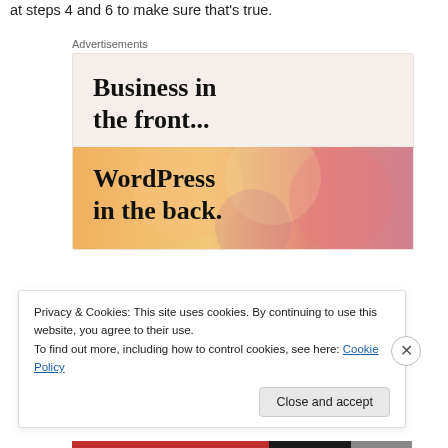at steps 4 and 6 to make sure that's true.
[Figure (illustration): Advertisement block showing two sections: top section with light beige background reading 'Business in the front...' in large serif bold text, and bottom section with orange/peach gradient background and decorative circles reading 'WordPress in the back.' in large serif bold text. Labeled 'Advertisements' above.]
Privacy & Cookies: This site uses cookies. By continuing to use this website, you agree to their use.
To find out more, including how to control cookies, see here: Cookie Policy
Close and accept